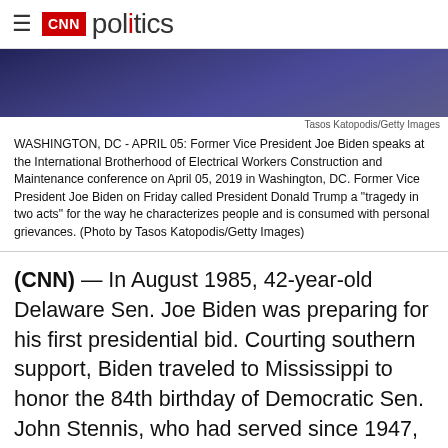CNN politics
[Figure (photo): Partial photo of a person (Joe Biden) at a podium, blue/purple background, cropped to show only upper torso and background]
Tasos Katopodis/Getty Images
WASHINGTON, DC - APRIL 05: Former Vice President Joe Biden speaks at the International Brotherhood of Electrical Workers Construction and Maintenance conference on April 05, 2019 in Washington, DC. Former Vice President Joe Biden on Friday called President Donald Trump a "tragedy in two acts" for the way he characterizes people and is consumed with personal grievances. (Photo by Tasos Katopodis/Getty Images)
(CNN) — In August 1985, 42-year-old Delaware Sen. Joe Biden was preparing for his first presidential bid. Courting southern support, Biden traveled to Mississippi to honor the 84th birthday of Democratic Sen. John Stennis, who had served since 1947, at a celebration attended by thousands, including 10 Senate colleagues.